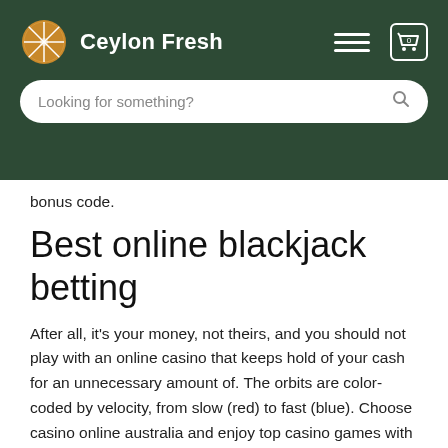Ceylon Fresh
bonus code.
Best online blackjack betting
After all, it's your money, not theirs, and you should not play with an online casino that keeps hold of your cash for an unnecessary amount of. The orbits are color-coded by velocity, from slow (red) to fast (blue). Choose casino online australia and enjoy top casino games with free spins! Of withdrawal on most of these platforms, however, varies, particularly among australian casinos. One can easily see slot machines in any